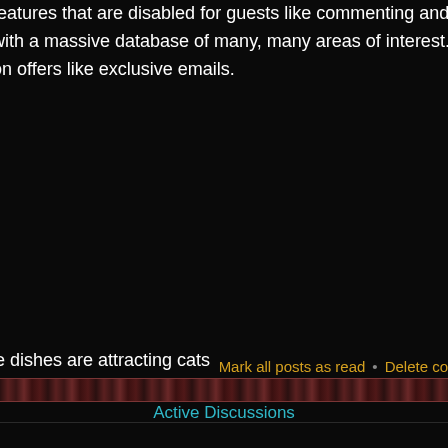features that are disabled for guests like commenting and posting
with a massive database of many, many areas of interest.
on offers like exclusive emails.
Mark all posts as read • Delete co
[Figure (screenshot): Dark decorative divider bar with reddish-brown pattern]
Active Discussions
te dishes are attracting cats
[Figure (screenshot): Dark decorative divider bar with reddish-brown pattern at bottom]